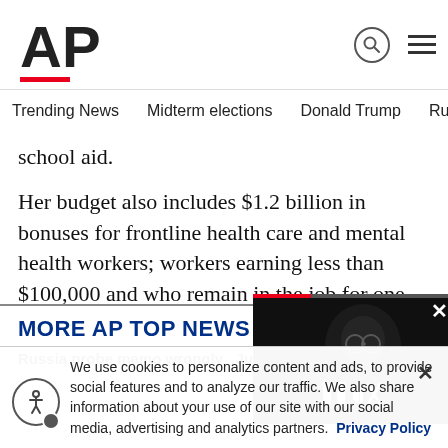AP
Trending News   Midterm elections   Donald Trump   Russia-Ukr
school aid.
Her budget also includes $1.2 billion in bonuses for frontline health care and mental health workers; workers earning less than $100,000 and who remain in the job for one year could earn up to $3,000 in bonuses.
MORE AP TOP NEWS
Russia probe memo wrongly   Judge:
[Figure (screenshot): Video thumbnail showing a man with glasses, with playback controls (pause and mute) and a red progress bar at top. A close button (X) appears in the top right.]
We use cookies to personalize content and ads, to provide social features and to analyze our traffic. We also share information about your use of our site with our social media, advertising and analytics partners. Privacy Policy